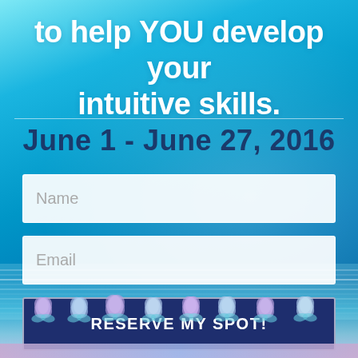to help YOU develop your intuitive skills.
June 1 - June 27, 2016
Name
Email
RESERVE MY SPOT!
[Figure (illustration): Row of lotus flower illustrations in light blue/purple tones along the bottom of the page]